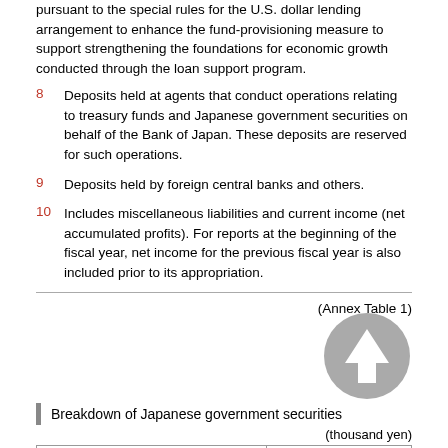pursuant to the special rules for the U.S. dollar lending arrangement to enhance the fund-provisioning measure to support strengthening the foundations for economic growth conducted through the loan support program.
8  Deposits held at agents that conduct operations relating to treasury funds and Japanese government securities on behalf of the Bank of Japan. These deposits are reserved for such operations.
9  Deposits held by foreign central banks and others.
10  Includes miscellaneous liabilities and current income (net accumulated profits). For reports at the beginning of the fiscal year, net income for the previous fiscal year is also included prior to its appropriation.
(Annex Table 1)
Breakdown of Japanese government securities
(thousand yen)
|  |  |
| --- | --- |
| Japanese government bonds | 489,163,552,733 |